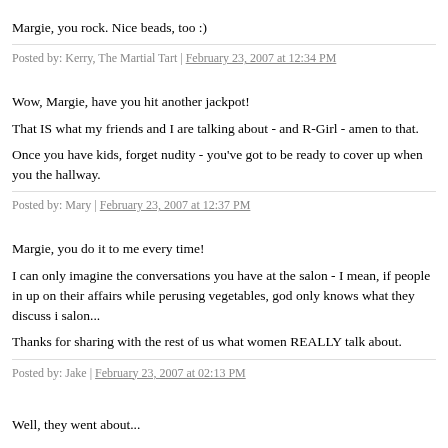Margie, you rock. Nice beads, too :)
Posted by: Kerry, The Martial Tart | February 23, 2007 at 12:34 PM
Wow, Margie, have you hit another jackpot!
That IS what my friends and I are talking about - and R-Girl - amen to that.
Once you have kids, forget nudity - you've got to be ready to cover up when you the hallway.
Posted by: Mary | February 23, 2007 at 12:37 PM
Margie, you do it to me every time!
I can only imagine the conversations you have at the salon - I mean, if people in up on their affairs while perusing vegetables, god only knows what they discuss i salon...
Thanks for sharing with the rest of us what women REALLY talk about.
Posted by: Jake | February 23, 2007 at 02:13 PM
Well, they went about...